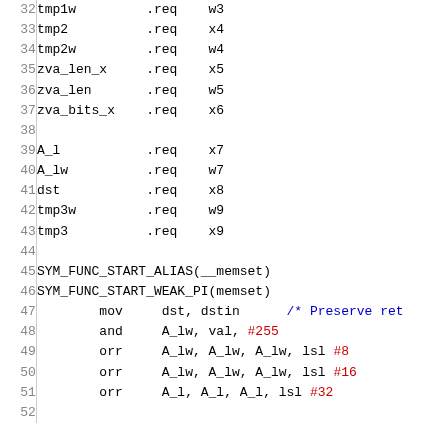Assembly source code listing lines 32–52 showing register alias definitions and SYM_FUNC_START macros with ARM assembly instructions
32   tmp1w         .req   w3
33   tmp2          .req   x4
34   tmp2w         .req   w4
35   zva_len_x     .req   x5
36   zva_len       .req   w5
37   zva_bits_x    .req   x6
38
39   A_l           .req   x7
40   A_lw          .req   w7
41   dst           .req   x8
42   tmp3w         .req   w9
43   tmp3          .req   x9
44
45   SYM_FUNC_START_ALIAS(__memset)
46   SYM_FUNC_START_WEAK_PI(memset)
47           mov     dst, dstin      /* Preserve ret
48           and     A_lw, val, #255
49           orr     A_lw, A_lw, A_lw, lsl #8
50           orr     A_lw, A_lw, A_lw, lsl #16
51           orr     A_l, A_l, A_l, lsl #32
52